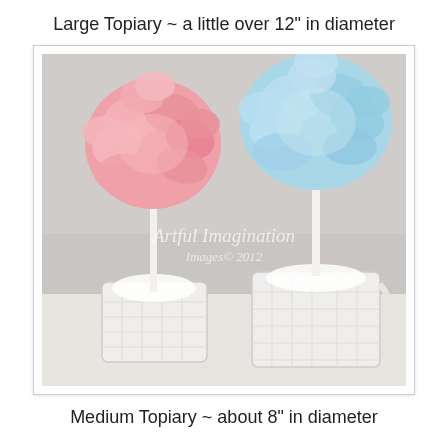Large Topiary ~ a little over 12" in diameter
[Figure (photo): Two decorative tissue paper pom-pom topiaries in white wicker baskets. Left topiary has a pink pom-pom ball on a white stick in a small white wicker basket. Right topiary has a light blue/baby blue pom-pom ball on a white stick in a larger white wicker basket. White watermark text reads 'Artful Imagination Images© 2012' in the center of the photo. Background is light gray/white.]
Medium Topiary ~ about 8" in diameter